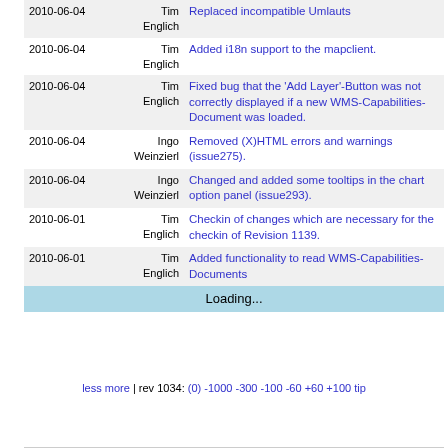| Date | Author | Message |
| --- | --- | --- |
| 2010-06-04 | Tim Englich | Replaced incompatible Umlauts |
| 2010-06-04 | Tim Englich | Added i18n support to the mapclient. |
| 2010-06-04 | Tim Englich | Fixed bug that the 'Add Layer'-Button was not correctly displayed if a new WMS-Capabilities-Document was loaded. |
| 2010-06-04 | Ingo Weinzierl | Removed (X)HTML errors and warnings (issue275). |
| 2010-06-04 | Ingo Weinzierl | Changed and added some tooltips in the chart option panel (issue293). |
| 2010-06-01 | Tim Englich | Checkin of changes which are necessary for the checkin of Revision 1139. |
| 2010-06-01 | Tim Englich | Added functionality to read WMS-Capabilities-Documents |
|  |  | Loading... |
less more | rev 1034: (0) -1000 -300 -100 -60 +60 +100 tip